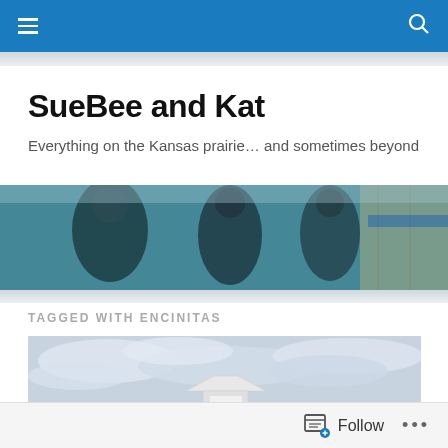Navigation bar with menu and search icons
SueBee and Kat
Everything on the Kansas prairie… and sometimes beyond
[Figure (photo): Banner photo of people reflected in a window or glass surface, with teal/blue tones]
TAGGED WITH ENCINITAS
[Figure (photo): Outdoor photo with cloudy sky and a lifeguard tower or shelter structure in the lower center]
Follow  •••